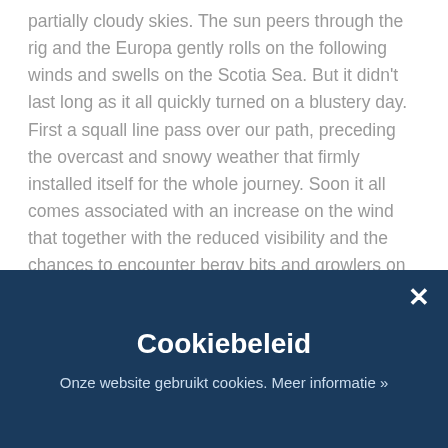partially cloudy skies. The sun peers through the rig and the Europa gently rolls on the following winds and swells on the Scotia Sea. But it didn't last long as it all quickly turned on a blustery day. First a squall line pass over our path, preceding the overcast and snowy weather that firmly installed itself for the whole journey. Soon it all comes associated with an increase on the wind that together with the reduced visibility and the chances to encounter bergy bits and growlers on our way, make for Clue up and furl the Main Course together with the Outer Jib. Nevertheless Europa keeps a good course and speed of about 7 to 8kn towards South Georgia. The growing swell and the fact that we almost run downwind made for an uncomfortable rolling day. Water soon started to keep Main deck awash, watertight doors are closed on the main accesses
Cookiebeleid
Onze website gebruikt cookies. Meer informatie »